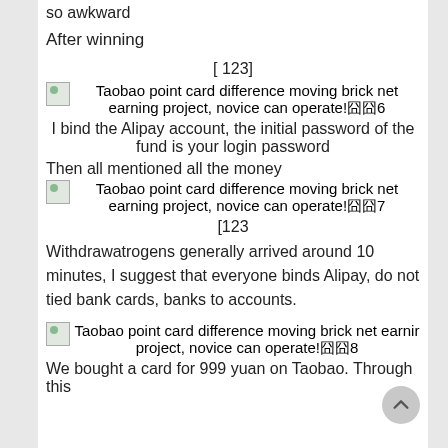so awkward
After winning
[ 123]
[Figure (illustration): Broken image placeholder for Taobao point card difference moving brick net earning project, novice can operate!囧囧6]
I bind the Alipay account, the initial password of the fund is your login password
Then all mentioned all the money
[Figure (illustration): Broken image placeholder for Taobao point card difference moving brick net earning project, novice can operate!囧囧7]
[123
Withdrawatrogens generally arrived around 10 minutes, I suggest that everyone binds Alipay, do not tied bank cards, banks to accounts.
[Figure (illustration): Broken image placeholder for Taobao point card difference moving brick net earning project, novice can operate!囧囧8]
We bought a card for 999 yuan on Taobao. Through this